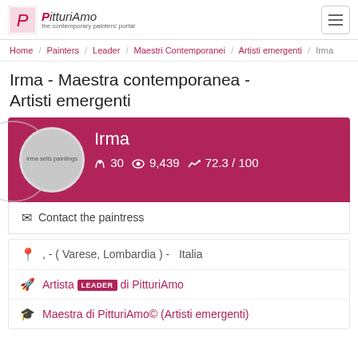PitturiAmo - the contemporary painters' portal
Home / Painters / Leader / Maestri Contemporanei / Artisti emergenti / Irma
Irma - Maestra contemporanea - Artisti emergenti
[Figure (photo): Artist profile card with pink/magenta background showing artist name Irma, 30 paintings, 9,439 views, score 72.3/100]
✉ Contact the paintress
, - ( Varese, Lombardia ) - Italia
Artista LEADER di PitturiAmo
Maestra di PitturiAmo© (Artisti emergenti)